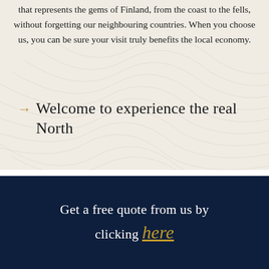that represents the gems of Finland, from the coast to the fells, without forgetting our neighbouring countries. When you choose us, you can be sure your visit truly benefits the local economy.
Welcome to experience the real North
Get a free quote from us by clicking here